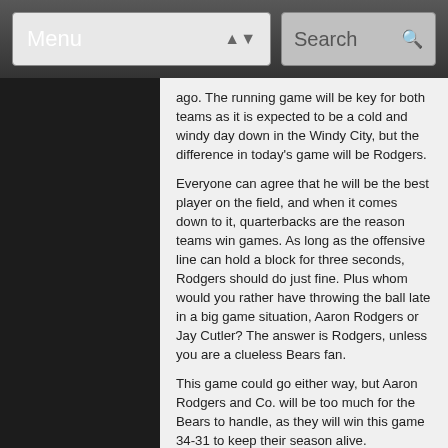Menu    Search
ago. The running game will be key for both teams as it is expected to be a cold and windy day down in the Windy City, but the difference in today's game will be Rodgers.
Everyone can agree that he will be the best player on the field, and when it comes down to it, quarterbacks are the reason teams win games. As long as the offensive line can hold a block for three seconds, Rodgers should do just fine. Plus whom would you rather have throwing the ball late in a big game situation, Aaron Rodgers or Jay Cutler? The answer is Rodgers, unless you are a clueless Bears fan.
This game could go either way, but Aaron Rodgers and Co. will be too much for the Bears to handle, as they will win this game 34-31 to keep their season alive.